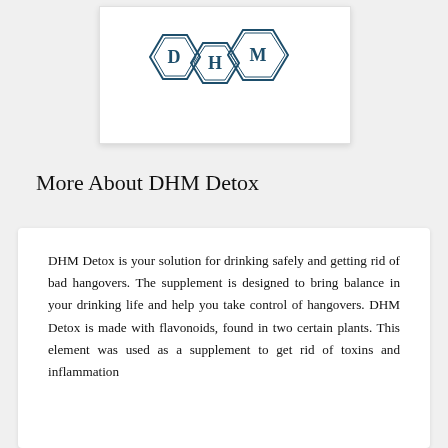[Figure (logo): DHM Detox logo: three hexagons with letters D, H, M in dark teal outline style]
More About DHM Detox
DHM Detox is your solution for drinking safely and getting rid of bad hangovers. The supplement is designed to bring balance in your drinking life and help you take control of hangovers. DHM Detox is made with flavonoids, found in two certain plants. This element was used as a supplement to get rid of toxins and inflammation